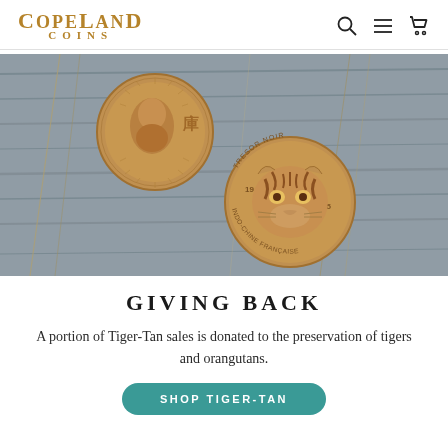Copeland Coins
[Figure (photo): Two copper/bronze commemorative coins on a wooden surface with dried grass. The upper coin shows a bearded man's portrait with a Chinese character. The lower coin shows a tiger's face with text reading 'TRESOR NOIR 1955 INDO-CHINE FRANÇAISE'.]
GIVING BACK
A portion of Tiger-Tan sales is donated to the preservation of tigers and orangutans.
SHOP TIGER-TAN